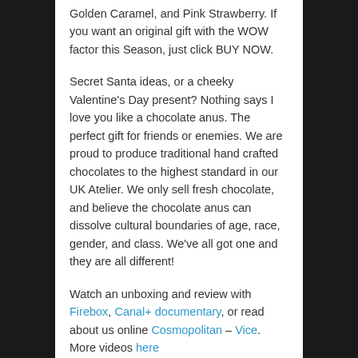Golden Caramel, and Pink Strawberry. If you want an original gift with the WOW factor this Season, just click BUY NOW.
Secret Santa ideas, or a cheeky Valentine's Day present? Nothing says I love you like a chocolate anus. The perfect gift for friends or enemies. We are proud to produce traditional hand crafted chocolates to the highest standard in our UK Atelier. We only sell fresh chocolate, and believe the chocolate anus can dissolve cultural boundaries of age, race, gender, and class. We've all got one and they are all different!
Watch an unboxing and review with Firebox, Canal+ documentary, or read about us online Cosmopolitan – Vice. More videos here